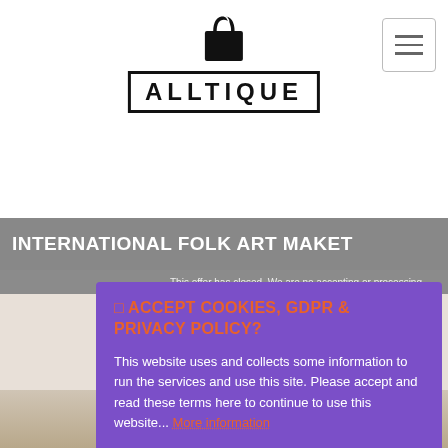[Figure (logo): Alltique logo: shopping bag icon above a text box reading ALLTIQUE in bold capitals]
[Figure (other): Hamburger menu button (three horizontal lines) in top right corner]
INTERNATIONAL FOLK ART MAKET
This website uses and collects some information to run the services and use this site. Please accept and read these terms here to continue to use this website... More information
□ ACCEPT COOKIES, GDPR & PRIVACY POLICY?
Accept Cookies and Privacy, GDP Policy
Customise Cookies
"FINE GOLD JEWELRY